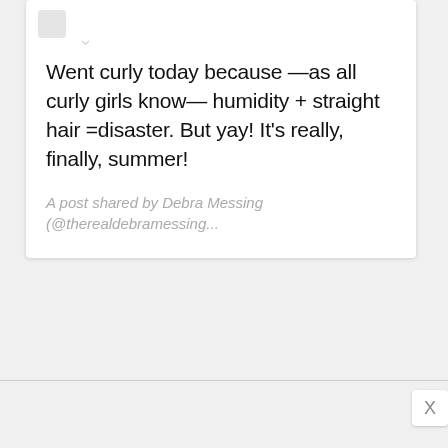Went curly today because —as all curly girls know— humidity + straight hair =disaster. But yay! It's really, finally, summer!
A post shared by Debra Messing (@therealdebramessing...)